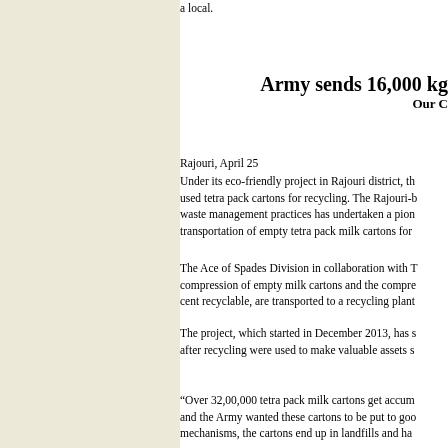a local.
Army sends 16,000 kg
Our C
Rajouri, April 25
Under its eco-friendly project in Rajouri district, th used tetra pack cartons for recycling. The Rajouri-b waste management practices has undertaken a pion transportation of empty tetra pack milk cartons for
The Ace of Spades Division in collaboration with T compression of empty milk cartons and the compre cent recyclable, are transported to a recycling plant
The project, which started in December 2013, has s after recycling were used to make valuable assets s
“Over 32,00,000 tetra pack milk cartons get accum and the Army wanted these cartons to be put to goo mechanisms, the cartons end up in landfills and ha
He added that the Ace of Spades Division had alwa initiative, the Army wanted to spread the message o and greener place.